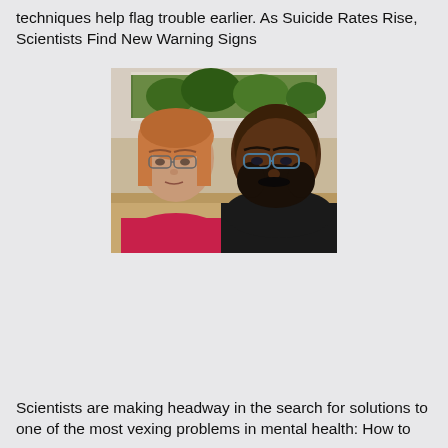techniques help flag trouble earlier. As Suicide Rates Rise, Scientists Find New Warning Signs
[Figure (photo): Two people sitting side by side: a middle-aged woman with glasses and reddish-blonde hair wearing a pink top, and a man with glasses and dark beard wearing a black shirt. A green landscape painting is visible on the wall behind them.]
Scientists are making headway in the search for solutions to one of the most vexing problems in mental health: How to